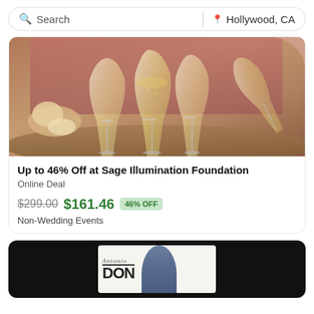Search | Hollywood, CA
[Figure (photo): Champagne flutes on a table, being poured, with food in background]
Up to 46% Off at Sage Illumination Foundation
Online Deal
$299.00  $161.46  46% OFF
Non-Wedding Events
[Figure (photo): Dark background card with 'Antonio DON' logo and a figure wearing a blue beanie hat]